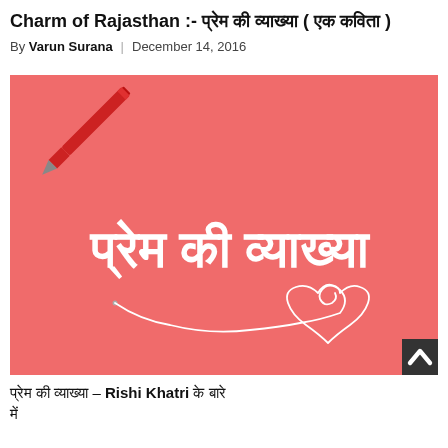Charm of Rajasthan :- प्रेम की व्याख्या ( एक कविता )
By Varun Surana | December 14, 2016
[Figure (illustration): Red/coral background illustration with white Hindi text 'प्रेम की व्याख्या' (meaning: definition of love), a red pen on the left, and a white hand-drawn heart doodle with curvy lines at the bottom right.]
प्रेम की व्याख्या – Rishi Khatri के बारे में
By Varun Surana | January 7, 2017